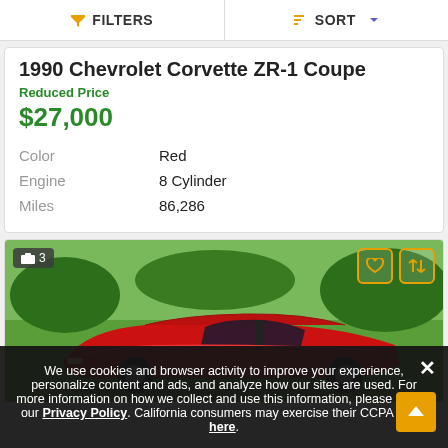FILTERS  SORT
1990 Chevrolet Corvette ZR-1 Coupe
Reduced Price
$27,000
| Color | Red |
| Engine | 8 Cylinder |
| Miles | 86,286 |
[Figure (photo): Red convertible Corvette on green lawn, 3 photos badge shown]
We use cookies and browser activity to improve your experience, personalize content and ads, and analyze how our sites are used. For more information on how we collect and use this information, please review our Privacy Policy. California consumers may exercise their CCPA rights here.